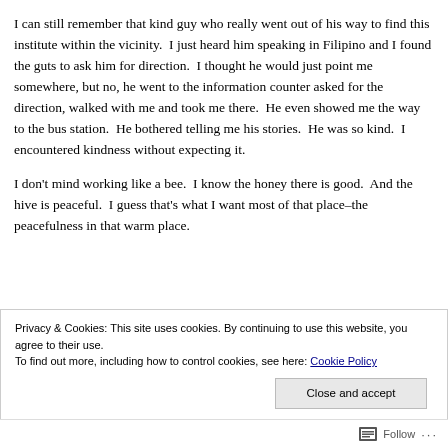I can still remember that kind guy who really went out of his way to find this institute within the vicinity.  I just heard him speaking in Filipino and I found the guts to ask him for direction.  I thought he would just point me somewhere, but no, he went to the information counter asked for the direction, walked with me and took me there.  He even showed me the way to the bus station.  He bothered telling me his stories.  He was so kind.  I encountered kindness without expecting it.
I don't mind working like a bee.  I know the honey there is good.  And the hive is peaceful.  I guess that's what I want most of that place–the peacefulness in that warm place.
Privacy & Cookies: This site uses cookies. By continuing to use this website, you agree to their use.
To find out more, including how to control cookies, see here: Cookie Policy
Close and accept
Follow ...